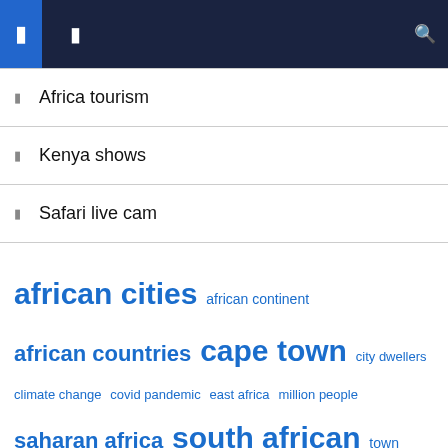Navigation bar with icons
Africa tourism
Kenya shows
Safari live cam
african cities  african continent  african countries  cape town  city dwellers  climate change  covid pandemic  east africa  million people  saharan africa  south african  town south  united nations  united states  urban areas